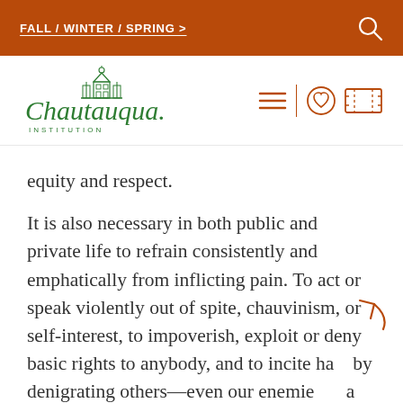FALL / WINTER / SPRING >
[Figure (logo): Chautauqua Institution logo — green script text and building illustration]
equity and respect.
It is also necessary in both public and private life to refrain consistently and emphatically from inflicting pain. To act or speak violently out of spite, chauvinism, or self-interest, to impoverish, exploit or deny basic rights to anybody, and to incite ha[te] by denigrating others—even our enemies—[is] a denial of our common humanity.